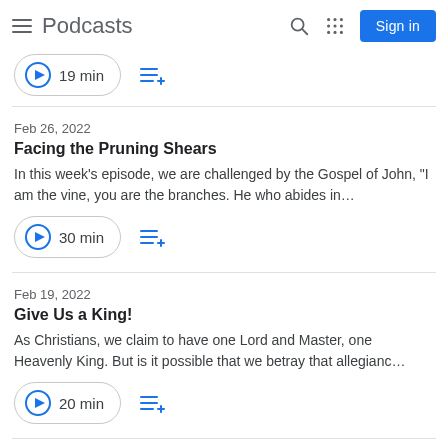Podcasts
19 min
Feb 26, 2022
Facing the Pruning Shears
In this week's episode, we are challenged by the Gospel of John, "I am the vine, you are the branches. He who abides in...
30 min
Feb 19, 2022
Give Us a King!
As Christians, we claim to have one Lord and Master, one Heavenly King. But is it possible that we betray that allegianc...
20 min
Feb 12, 2022